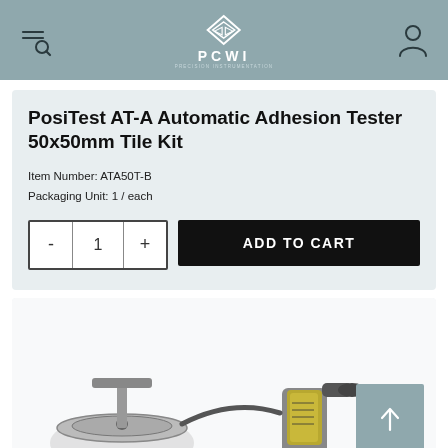[Figure (screenshot): PCWI (Precision Instrumentation) website header with hamburger+search icon on left, PCWI logo in center, user account icon on right, on a steel-blue background]
PosiTest AT-A Automatic Adhesion Tester 50x50mm Tile Kit
Item Number: ATA50T-B
Packaging Unit: 1 / each
[Figure (photo): Photo of the PosiTest AT-A automatic adhesion tester device — a handheld hydraulic pump with gauge and a round dolly/disc attachment, shown partially cropped at bottom of page]